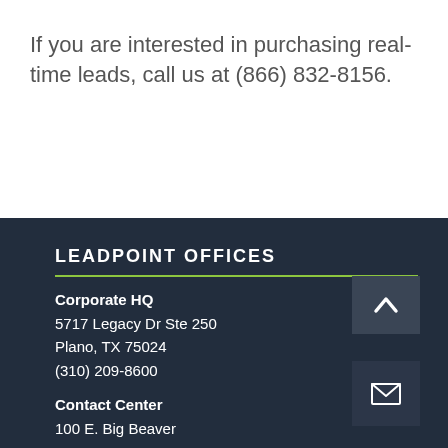If you are interested in purchasing real-time leads, call us at (866) 832-8156.
LEADPOINT OFFICES
Corporate HQ
5717 Legacy Dr Ste 250
Plano, TX 75024
(310) 209-8600
Contact Center
100 E. Big Beaver